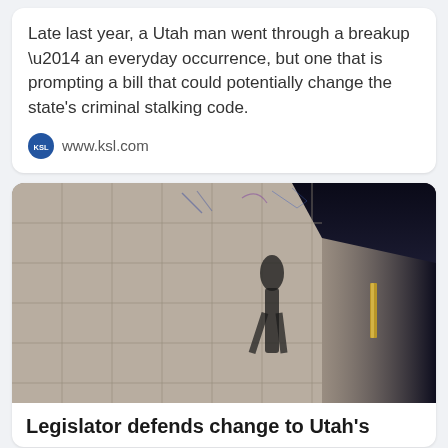Late last year, a Utah man went through a breakup \u2014 an everyday occurrence, but one that is prompting a bill that could potentially change the state's criminal stalking code.
www.ksl.com
[Figure (photo): A dark tunnel or corridor with a tiled concrete wall featuring graffiti. A shadowy silhouette of a standing person is cast on the wall. The right side of the image shows a dark ceiling area with a gold/yellow vertical bar visible.]
Legislator defends change to Utah's